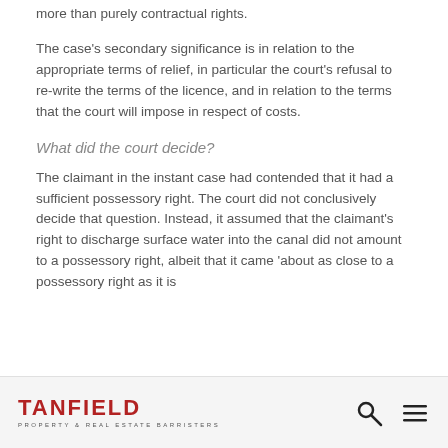more than purely contractual rights.
The case's secondary significance is in relation to the appropriate terms of relief, in particular the court's refusal to re-write the terms of the licence, and in relation to the terms that the court will impose in respect of costs.
What did the court decide?
The claimant in the instant case had contended that it had a sufficient possessory right. The court did not conclusively decide that question. Instead, it assumed that the claimant's right to discharge surface water into the canal did not amount to a possessory right, albeit that it came 'about as close to a possessory right as it is
TANFIELD PROPERTY & REAL ESTATE BARRISTERS